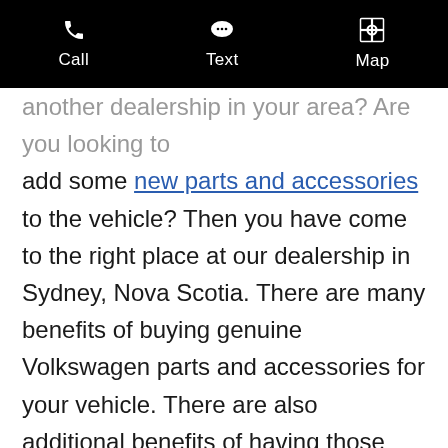Call   Text   Map
another dealership in your area? Are you looking to add some new parts and accessories to the vehicle? Then you have come to the right place at our dealership in Sydney, Nova Scotia. There are many benefits of buying genuine Volkswagen parts and accessories for your vehicle. There are also additional benefits of having those parts and accessories installed by our certified Volkswagen technicians. In this article by Jim Sampson Motors, we share some information about where to find Volkswagen parts near you.